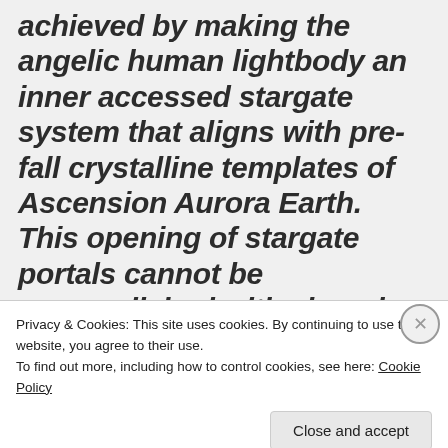achieved by making the angelic human lightbody an inner accessed stargate system that aligns with pre-fall crystalline templates of Ascension Aurora Earth. This opening of stargate portals cannot be accomplished with cloned body parts or fake signet shield devices, although the intruders try to do this
Privacy & Cookies: This site uses cookies. By continuing to use this website, you agree to their use. To find out more, including how to control cookies, see here: Cookie Policy
Close and accept